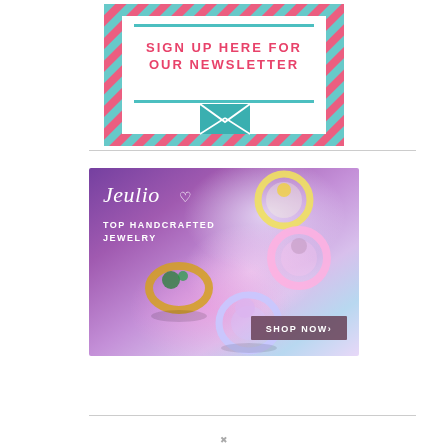[Figure (infographic): Newsletter signup banner with teal and pink dashed border, envelope icon, and text 'SIGN UP HERE FOR OUR NEWSLETTER']
[Figure (infographic): Jeulia jewelry advertisement with purple-to-light gradient background, logo 'Jeulio' with heart, text 'TOP HANDCRAFTED JEWELRY', rings/jewelry images, and 'SHOP NOW>' button]